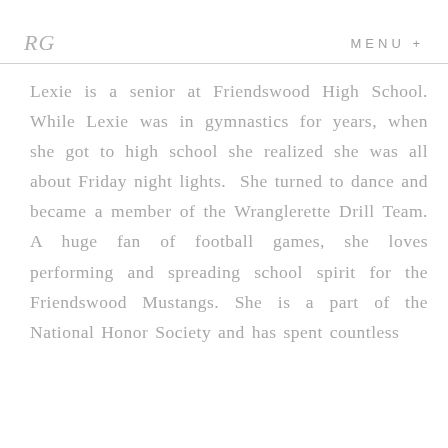RG   MENU +
Lexie is a senior at Friendswood High School. While Lexie was in gymnastics for years, when she got to high school she realized she was all about Friday night lights.  She turned to dance and became a member of the Wranglerette Drill Team. A huge fan of football games, she loves performing and spreading school spirit for the Friendswood Mustangs. She is a part of the National Honor Society and has spent countless